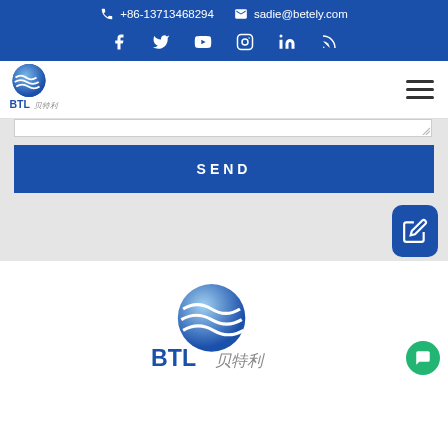+86-13713468294   sadie@betely.com
[Figure (logo): BTL 贝特利 company logo (small) in navigation bar]
[Figure (illustration): Send button (blue rectangle with SEND text) and form textarea above it]
[Figure (logo): BTL 贝特利 company logo (large) at bottom of page]